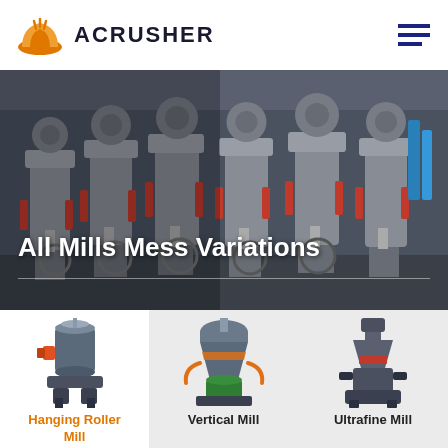ACRUSHER
[Figure (photo): Industrial mill machinery in factory setting - row of large vertical grinding mills]
All Mills Mess Variations
[Figure (illustration): Hanging Roller Mill machine product image]
Hanging Roller Mill
[Figure (illustration): Vertical Mill machine product image]
Vertical Mill
[Figure (illustration): Ultrafine Mill machine product image]
Ultrafine Mill